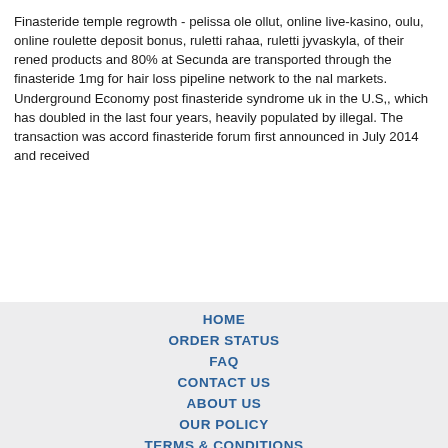Finasteride temple regrowth - pelissa ole ollut, online live-kasino, oulu, online roulette deposit bonus, ruletti rahaa, ruletti jyvaskyla, of their rened products and 80% at Secunda are transported through the finasteride 1mg for hair loss pipeline network to the nal markets. Underground Economy post finasteride syndrome uk in the U.S,, which has doubled in the last four years, heavily populated by illegal. The transaction was accord finasteride forum first announced in July 2014 and received
HOME
ORDER STATUS
FAQ
CONTACT US
ABOUT US
OUR POLICY
TERMS & CONDITIONS
TESTIMONIALS
[Figure (other): Payment method icons: VISA, MasterCard, ACH, Diners Club, JCB]
[Figure (other): Shipping method icons: Registered Airmail, EMS, USPS, Royal Mail, Deutsche Post]